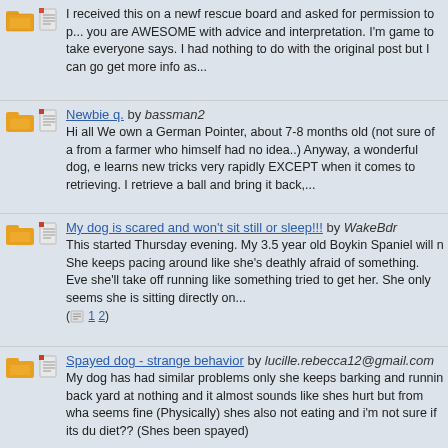I received this on a newf rescue board and asked for permission to p... you are AWESOME with advice and interpretation. I'm game to take everyone says. I had nothing to do with the original post but I can go get more info as...
Newbie q. by bassman2 — Hi all We own a German Pointer, about 7-8 months old (not sure of a from a farmer who himself had no idea..) Anyway, a wonderful dog, e learns new tricks very rapidly EXCEPT when it comes to retrieving. I retrieve a ball and bring it back,...
My dog is scared and won't sit still or sleep!!! by WakeBdr — This started Thursday evening. My 3.5 year old Boykin Spaniel will n She keeps pacing around like she's deathly afraid of something. Eve she'll take off running like something tried to get her. She only seems she is sitting directly on... (1 2)
Spayed dog - strange behavior by lucille.rebecca12@gmail.com — My dog has had similar problems only she keeps barking and runnin back yard at nothing and it almost sounds like shes hurt but from wha seems fine (Physically) shes also not eating and i'm not sure if its du diet?? (Shes been spayed)
Video about Australia's most impounded dog by Blulu — Hi Everyone! Sometime in the last decade I saw - I think on PBS - a was about dogs in Australia. It looked at various dog behaviors and w the main feature was a wonderful dog named Fugly whose owner wo the house when he went to work. Fugly...